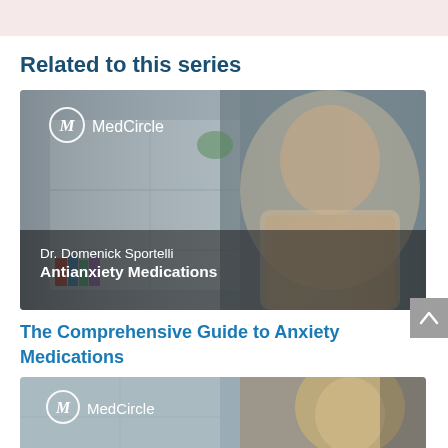Related to this series
[Figure (photo): MedCircle video thumbnail showing Dr. Domenick Sportelli – Antianxiety Medications. A man in a beige blazer and glasses sits in front of a bookshelf. The MedCircle logo and the text 'Dr. Domenick Sportelli / Antianxiety Medications' appear overlaid.]
The Comprehensive Guide to Anxiety Medications
[Figure (photo): Second MedCircle video thumbnail showing a woman with blonde hair. The MedCircle logo is overlaid in the top-left corner. The thumbnail is partially cropped at the bottom of the page.]